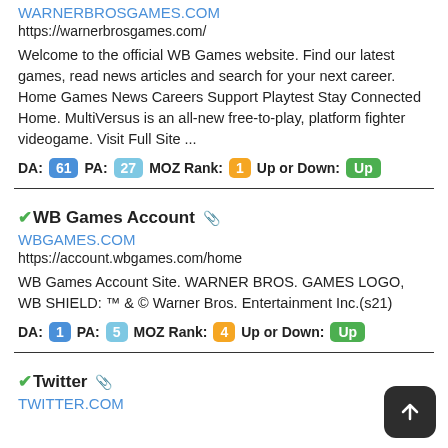WARNERBROSGAMES.COM
https://warnerbrosgames.com/
Welcome to the official WB Games website. Find our latest games, read news articles and search for your next career. Home Games News Careers Support Playtest Stay Connected Home. MultiVersus is an all-new free-to-play, platform fighter videogame. Visit Full Site ...
DA: 61 PA: 27 MOZ Rank: 1 Up or Down: Up
WB Games Account
WBGAMES.COM
https://account.wbgames.com/home
WB Games Account Site. WARNER BROS. GAMES LOGO, WB SHIELD: ™ & © Warner Bros. Entertainment Inc.(s21)
DA: 1 PA: 5 MOZ Rank: 4 Up or Down: Up
Twitter
TWITTER.COM